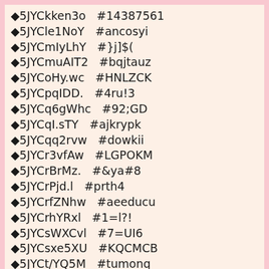◆5JYCkken3o  #14387561
◆5JYCle1NoY  #ancosyi
◆5JYCmIyLhY  #}j]$(
◆5JYCmuAIT2  #bqjtauz
◆5JYCoHy.wc  #HNLZCK
◆5JYCpqIDD.  #4ru!3
◆5JYCq6gWhc  #92;GD
◆5JYCqI.sTY  #ajkrypk
◆5JYCqq2rvw  #dowkii
◆5JYCr3vfAw  #LGPOKM
◆5JYCrBrMz.  #&ya#8
◆5JYCrPjd.l  #prth4
◆5JYCrfZNhw  #aeeducu
◆5JYCrhYRxl  #1=l?!
◆5JYCsWXCvl  #7=UI6
◆5JYCsxe5XU  #KQCMCB
◆5JYCt/YQ5M  #tumonq
◆5JYCto9/Hc  #AlYOPOS
◆5JYCtrOooc  #&,ti!